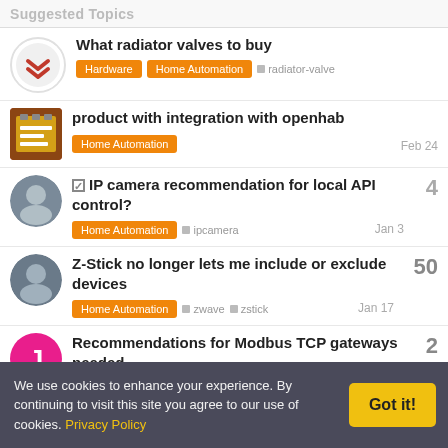Suggested Topics
What radiator valves to buy
product with integration with openhab
IP camera recommendation for local API control?
Z-Stick no longer lets me include or exclude devices
Recommendations for Modbus TCP gateways needed
We use cookies to enhance your experience. By continuing to visit this site you agree to our use of cookies. Privacy Policy